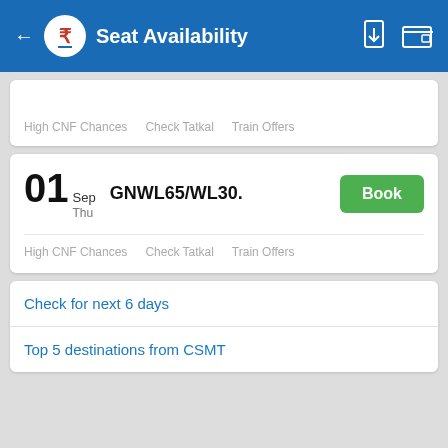Seat Availability
High CNF Chances   Check Tatkal   Train Offers
01 Sep Thu   GNWL65/WL30.   Book
High CNF Chances   Check Tatkal   Train Offers
Check for next 6 days
Top 5 destinations from CSMT